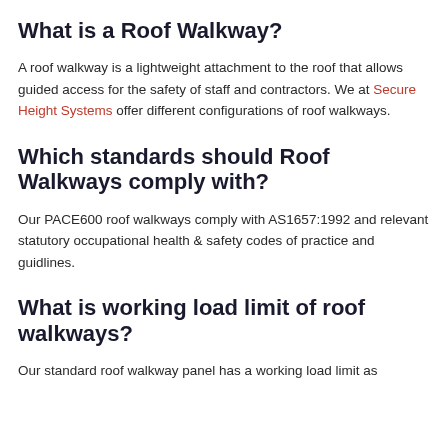What is a Roof Walkway?
A roof walkway is a lightweight attachment to the roof that allows guided access for the safety of staff and contractors. We at Secure Height Systems offer different configurations of roof walkways.
Which standards should Roof Walkways comply with?
Our PACE600 roof walkways comply with AS1657:1992 and relevant statutory occupational health & safety codes of practice and guidlines.
What is working load limit of roof walkways?
Our standard roof walkway panel has a working load limit as